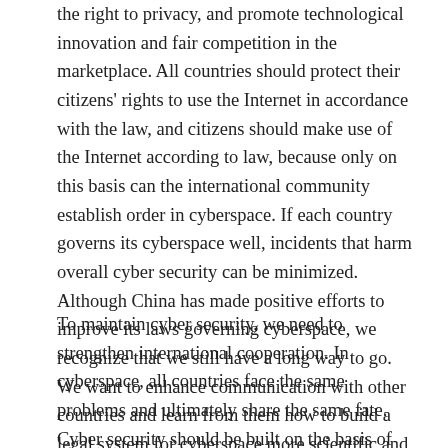the right to privacy, and promote technological innovation and fair competition in the marketplace. All countries should protect their citizens' rights to use the Internet in accordance with the law, and citizens should make use of the Internet according to law, because only on this basis can the international community establish order in cyberspace. If each country governs its cyberspace well, incidents that harm overall cyber security can be minimized. Although China has made positive efforts to improve its laws governing cyberspace, we recognize that we still have a long way to go. We want to enhance communication with other countries and learn from them how to build a legal system for cyberspace more scientific and more effective.
To maintain cyber security, we need to strengthen international cooperation. In cyberspace, all countries face the same problems and ultimately share the same fate. Cyber security should be built on the basis of coexistence and cooperation, as cooperation is the only way to achieve win-